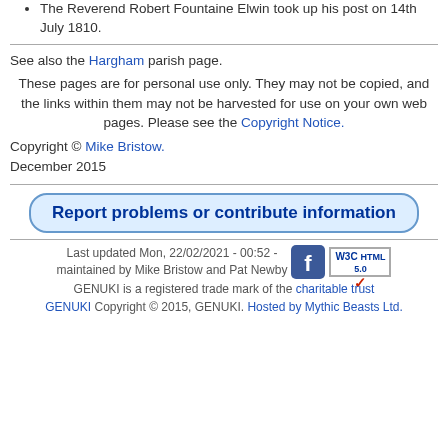The Reverend Robert Fountaine Elwin took up his post on 14th July 1810.
See also the Hargham parish page.
These pages are for personal use only. They may not be copied, and the links within them may not be harvested for use on your own web pages. Please see the Copyright Notice.
Copyright © Mike Bristow.
December 2015
Report problems or contribute information
Last updated Mon, 22/02/2021 - 00:52 - maintained by Mike Bristow and Pat Newby GENUKI is a registered trade mark of the charitable trust GENUKI Copyright © 2015, GENUKI. Hosted by Mythic Beasts Ltd.